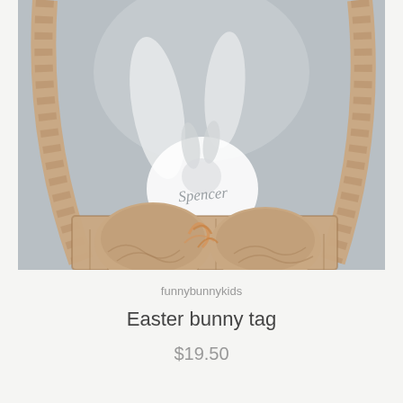[Figure (photo): A woven raffia Easter basket with a white acrylic bunny tag personalized with the name 'Spencer' in script lettering. The basket has braided rope handles and is filled with paper shreds. The background is a soft grey-blue.]
funnybunnykids
Easter bunny tag
$19.50